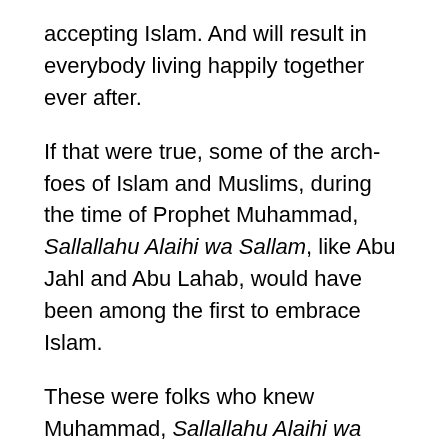accepting Islam. And will result in everybody living happily together ever after.
If that were true, some of the arch-foes of Islam and Muslims, during the time of Prophet Muhammad, Sallallahu Alaihi wa Sallam, like Abu Jahl and Abu Lahab, would have been among the first to embrace Islam.
These were folks who knew Muhammad, Sallallahu Alaihi wa Sallam, intimately. They experienced life with him as a most amazing and wonderful and honorable human being in the whole wide world.
They knew first hand, and only too well, what a